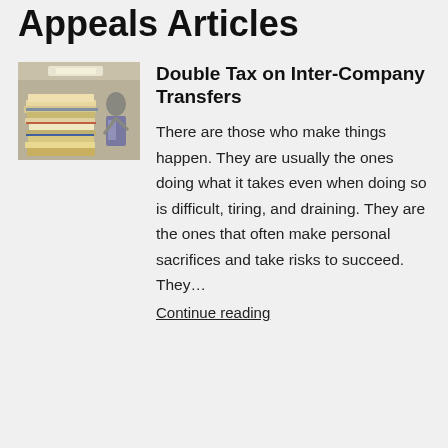Recent IRS Audit & Appeals Articles
[Figure (photo): Stack of files and folders piled high in an office setting, with a person partially visible in the background.]
Double Tax on Inter-Company Transfers
There are those who make things happen. They are usually the ones doing what it takes even when doing so is difficult, tiring, and draining. They are the ones that often make personal sacrifices and take risks to succeed. They…
Continue reading